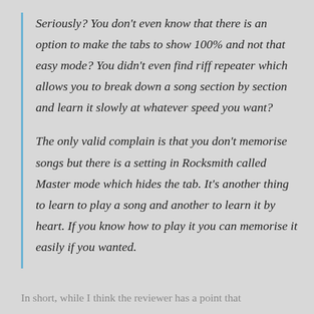Seriously? You don't even know that there is an option to make the tabs to show 100% and not that easy mode? You didn't even find riff repeater which allows you to break down a song section by section and learn it slowly at whatever speed you want?

The only valid complain is that you don't memorise songs but there is a setting in Rocksmith called Master mode which hides the tab. It's another thing to learn to play a song and another to learn it by heart. If you know how to play it you can memorise it easily if you wanted.
In short, while I think the reviewer has a point that